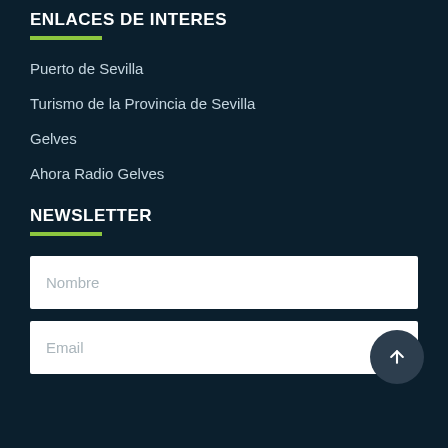ENLACES DE INTERES
Puerto de Sevilla
Turismo de la Provincia de Sevilla
Gelves
Ahora Radio Gelves
NEWSLETTER
Nombre (input field placeholder)
Email (input field placeholder)